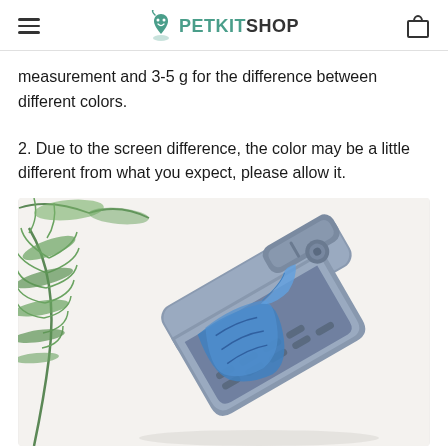PETKITSHOP
measurement and 3-5 g for the difference between different colors.
2. Due to the screen difference, the color may be a little different from what you expect, please allow it.
[Figure (photo): A gray pet waste scoop/litter scoop product with blue waste bags, photographed on a white background with green fern leaves on the left side.]